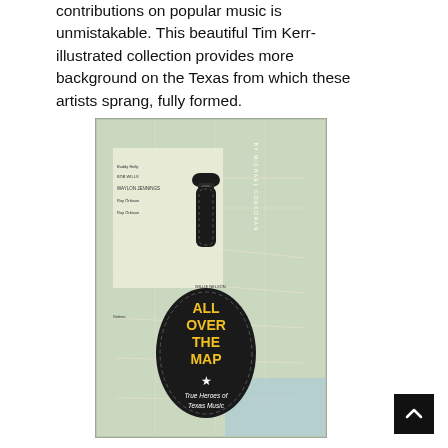contributions on popular music is unmistakable. This beautiful Tim Kerr-illustrated collection provides more background on the Texas from which these artists sprang, fully formed.
[Figure (photo): Book cover of 'All Over The Map: True Heroes of Texas Music' by Michael Corcoran, illustrated with a guitar case shape on a Texas map background.]